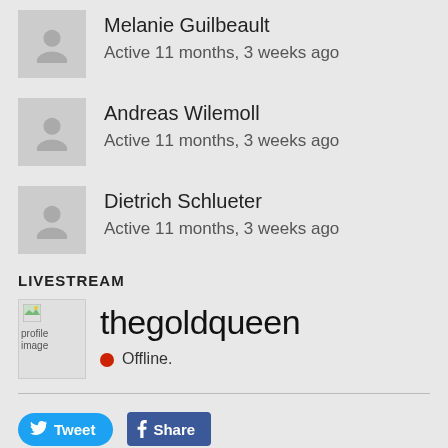Melanie Guilbeault
Active 11 months, 3 weeks ago
Andreas Wilemoll
Active 11 months, 3 weeks ago
Dietrich Schlueter
Active 11 months, 3 weeks ago
LIVESTREAM
[Figure (other): Livestream profile image placeholder with profile image label, thegoldqueen text, and red offline indicator]
Offline.
[Figure (other): Tweet button (Twitter) and Share button (Facebook)]